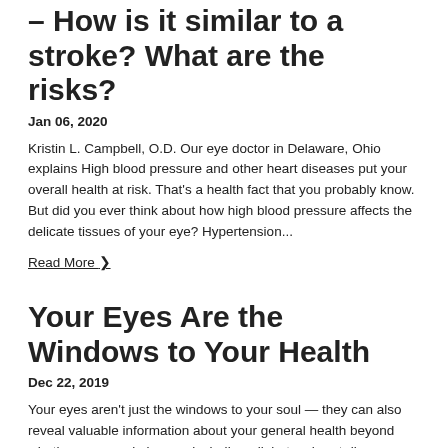– How is it similar to a stroke? What are the risks?
Jan 06, 2020
Kristin L. Campbell, O.D. Our eye doctor in Delaware, Ohio explains High blood pressure and other heart diseases put your overall health at risk. That's a health fact that you probably know. But did you ever think about how high blood pressure affects the delicate tissues of your eye? Hypertension...
Read More ›
Your Eyes Are the Windows to Your Health
Dec 22, 2019
Your eyes aren't just the windows to your soul — they can also reveal valuable information about your general health beyond whether you need glasses, including: diabetes, heart disease, and even cancer. It is not unusual for people to come in for an